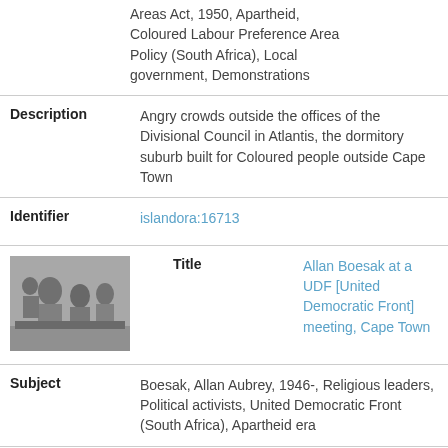Areas Act, 1950, Apartheid, Coloured Labour Preference Area Policy (South Africa), Local government, Demonstrations
Description: Angry crowds outside the offices of the Divisional Council in Atlantis, the dormitory suburb built for Coloured people outside Cape Town
Identifier: islandora:16713
[Figure (photo): Black and white photograph of people at a meeting, thumbnail]
Title: Allan Boesak at a UDF [United Democratic Front] meeting, Cape Town
Subject: Boesak, Allan Aubrey, 1946-, Religious leaders, Political activists, United Democratic Front (South Africa), Apartheid era
Description: Allan Boesak at an United Democratic Front meeting in Cape Town